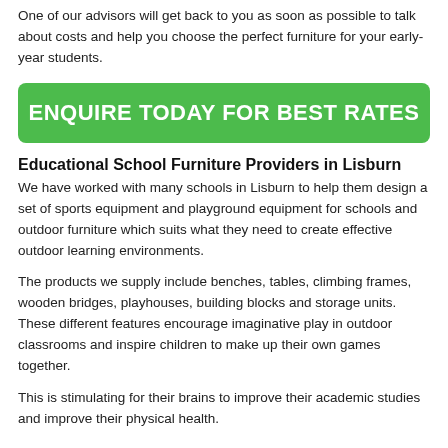One of our advisors will get back to you as soon as possible to talk about costs and help you choose the perfect furniture for your early-year students.
ENQUIRE TODAY FOR BEST RATES
Educational School Furniture Providers in Lisburn
We have worked with many schools in Lisburn to help them design a set of sports equipment and playground equipment for schools and outdoor furniture which suits what they need to create effective outdoor learning environments.
The products we supply include benches, tables, climbing frames, wooden bridges, playhouses, building blocks and storage units. These different features encourage imaginative play in outdoor classrooms and inspire children to make up their own games together.
This is stimulating for their brains to improve their academic studies and improve their physical health.